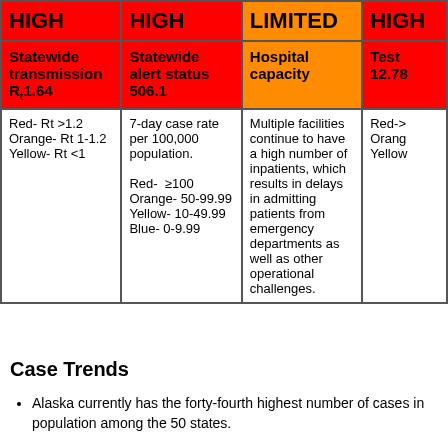| HIGH Statewide transmission Rt 1.64 | HIGH Statewide alert status 506.1 | LIMITED Hospital capacity | HIGH Test 12.78 |
| --- | --- | --- | --- |
| Red- Rt >1.2
Orange- Rt 1-1.2
Yellow- Rt <1 | 7-day case rate per 100,000 population.
Red- ≥100
Orange- 50-99.99
Yellow- 10-49.99
Blue- 0-9.99 | Multiple facilities continue to have a high number of inpatients, which results in delays in admitting patients from emergency departments as well as other operational challenges. | Red->...
Orange-...
Yellow-... |
Case Trends
Alaska currently has the forty-fourth highest number of cases in population among the 50 states.